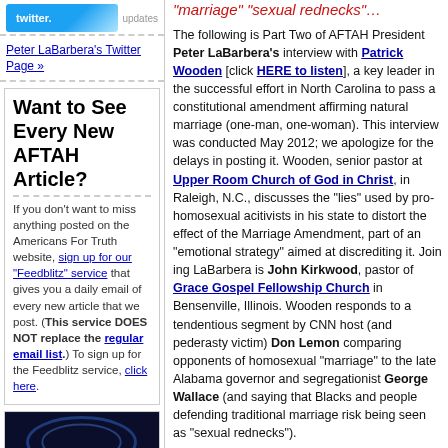[Figure (logo): Twitter logo/button with 'updates' text]
Peter LaBarbera's Twitter Page »
Want to See Every New AFTAH Article?
If you don't want to miss anything posted on the Americans For Truth website, sign up for our "Feedblitz" service that gives you a daily email of every new article that we post. (This service DOES NOT replace the regular email list.) To sign up for the Feedblitz service, click here.
[Figure (screenshot): Americans For Truth TV screen with red text overlay]
"marriage" "sexual rednecks"…
The following is Part Two of AFTAH President Peter LaBarbera's interview with Patrick Wooden [click HERE to listen], a key leader in the successful effort in North Carolina to pass a constitutional amendment affirming natural marriage (one-man, one-woman). This interview was conducted May 2012; we apologize for the delays in posting it. Wooden, senior pastor at Upper Room Church of God in Christ, in Raleigh, N.C., discusses the "lies" used by pro-homosexual acitivists in his state to distort the effect of the Marriage Amendment, part of an "emotional strategy" aimed at discrediting it. Joining LaBarbera is John Kirkwood, pastor of Grace Gospel Fellowship Church in Bensenville, Illinois. Wooden responds to a tendentious segment by CNN host (and pederasty victim) Don Lemon comparing opponents of homosexual "marriage" to the late Alabama governor and segregationist George Wallace (and saying that Blacks and people defending traditional marriage risk being seen as "sexual rednecks").
HOW TO LISTEN: This is an mp3 file, supported by most operating systems by Windows Media Player, Quick Time and/or I-Tunes. Real Player is not supported and there may be difficulty when attempting to listen with it. Left click once on the link below to play. (Please be patient, depending upon the speed of your internet connection it may take a moment or so